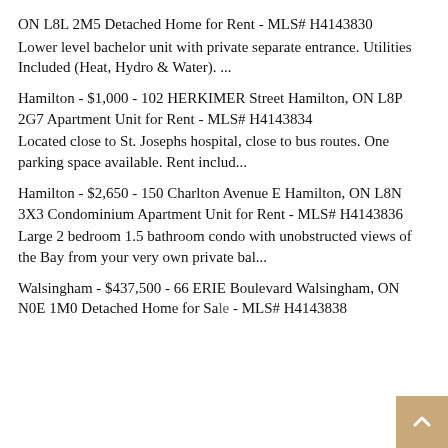ON L8L 2M5 Detached Home for Rent - MLS# H4143830
Lower level bachelor unit with private separate entrance. Utilities Included (Heat, Hydro & Water). ...
Hamilton - $1,000 - 102 HERKIMER Street Hamilton, ON L8P 2G7 Apartment Unit for Rent - MLS# H4143834
Located close to St. Josephs hospital, close to bus routes. One parking space available. Rent includ...
Hamilton - $2,650 - 150 Charlton Avenue E Hamilton, ON L8N 3X3 Condominium Apartment Unit for Rent - MLS# H4143836
Large 2 bedroom 1.5 bathroom condo with unobstructed views of the Bay from your very own private bal...
Walsingham - $437,500 - 66 ERIE Boulevard Walsingham, ON N0E 1M0 Detached Home for Sale - MLS# H4143838